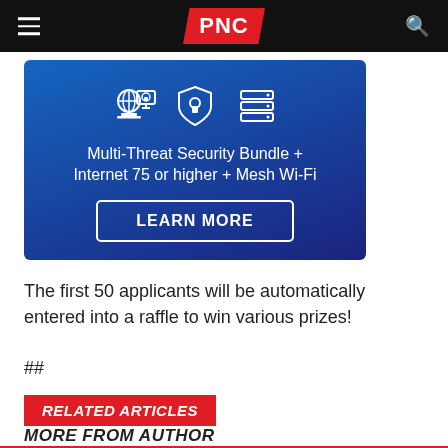PNC
[Figure (infographic): Blue advertisement banner with security icons (globe, monitor with lock, shield with lock, server with lock) and text: Multi-Threat Security Bundle + Internet 75 or higher + Mesh Wi-Fi, with a LEARN MORE button.]
The first 50 applicants will be automatically entered into a raffle to win various prizes!
##
RELATED ARTICLES
MORE FROM AUTHOR